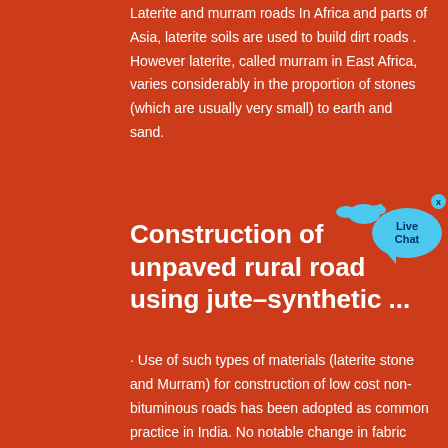Laterite and murram roads In Africa and parts of Asia, laterite soils are used to build dirt roads . However laterite, called murram in East Africa, varies considerably in the proportion of stones (which are usually very small) to earth and sand.
Construction of unpaved rural road using jute–synthetic ...
· Use of such types of materials (laterite stone and Murram) for construction of low cost non-bituminous roads has been adopted as common practice in India. No notable change in fabric appearance was observed after the spreading of stones and rolling operations.